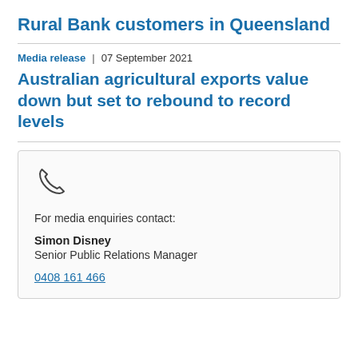Rural Bank customers in Queensland
Media release | 07 September 2021
Australian agricultural exports value down but set to rebound to record levels
For media enquiries contact:

Simon Disney
Senior Public Relations Manager

0408 161 466